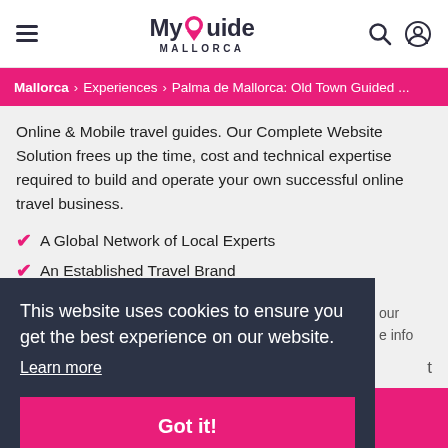My Guide MALLORCA
Mallorca > Experiences > Palma de Mallorca: Old Town Guided ...
Online & Mobile travel guides. Our Complete Website Solution frees up the time, cost and technical expertise required to build and operate your own successful online travel business.
A Global Network of Local Experts
An Established Travel Brand
This website uses cookies to ensure you get the best experience on our website.
Learn more
Got it!